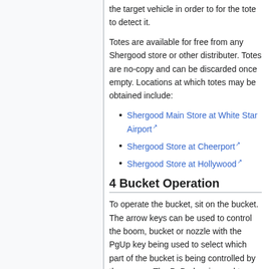the target vehicle in order to for the tote to detect it.
Totes are available for free from any Shergood store or other distributer. Totes are no-copy and can be discarded once empty. Locations at which totes may be obtained include:
Shergood Main Store at White Star Airport
Shergood Store at Cheerport
Shergood Store at Hollywood
4 Bucket Operation
To operate the bucket, sit on the bucket. The arrow keys can be used to control the boom, bucket or nozzle with the PgUp key being used to select which part of the bucket is being controlled by the arrows. The PgDn key is used to